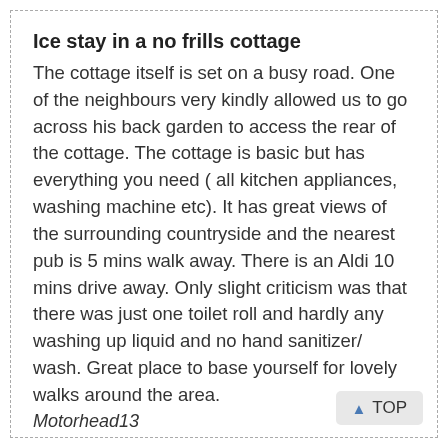Ice stay in a no frills cottage
The cottage itself is set on a busy road. One of the neighbours very kindly allowed us to go across his back garden to access the rear of the cottage. The cottage is basic but has everything you need ( all kitchen appliances, washing machine etc). It has great views of the surrounding countryside and the nearest pub is 5 mins walk away. There is an Aldi 10 mins drive away. Only slight criticism was that there was just one toilet roll and hardly any washing up liquid and no hand sanitizer/ wash. Great place to base yourself for lovely walks around the area.
Motorhead13